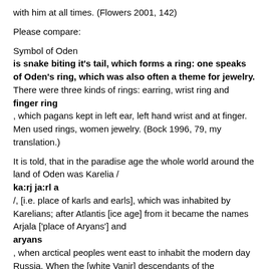with him at all times. (Flowers 2001, 142)
Please compare:
Symbol of Oden
is snake biting it's tail, which forms a ring: one speaks of Oden's ring, which was also often a theme for jewelry.
There were three kinds of rings: earring, wrist ring and
finger ring
, which pagans kept in left ear, left hand wrist and at finger. Men used rings, women jewelry. (Bock 1996, 79, my translation.)
It is told, that in the paradise age the whole world around the land of Oden was Karelia /
ka:rj ja:rl a
/, [i.e. place of karls and earls], which was inhabited by Karelians; after Atlantis [ice age] from it became the names Arjala ['place of Aryans'] and
aryans
, when arctical peoples went east to inhabit the modern day Russia. When the [white Vanir] descendants of the Lemminkäinen went to east and south, they eventually met in the south dark-skinned Vanir, who had began to move gradually towards the north.